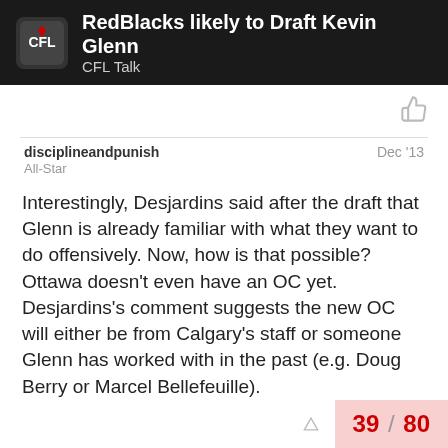RedBlacks likely to Draft Kevin Glenn — CFL Talk
disciplineandpunish
All-Star
Dec '13
Interestingly, Desjardins said after the draft that Glenn is already familiar with what they want to do offensively. Now, how is that possible? Ottawa doesn't even have an OC yet. Desjardins's comment suggests the new OC will either be from Calgary's staff or someone Glenn has worked with in the past (e.g. Doug Berry or Marcel Bellefeuille).
39 / 80